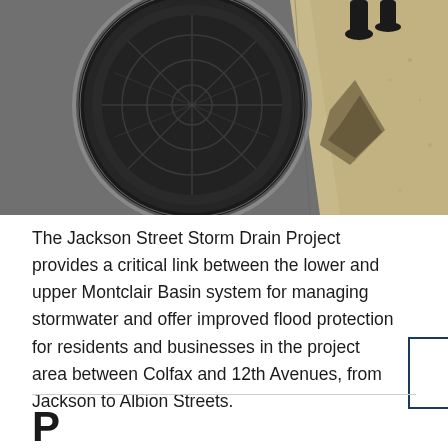[Figure (photo): Close-up photo of a large circular storm drain grate on pavement, with a sandy/concrete textured surface to the right showing a shadow cast by infrastructure. Legs/feet of people visible at top.]
The Jackson Street Storm Drain Project provides a critical link between the lower and upper Montclair Basin system for managing stormwater and offer improved flood protection for residents and businesses in the project area between Colfax and 12th Avenues, from Jackson to Albion Streets.
Project Overview